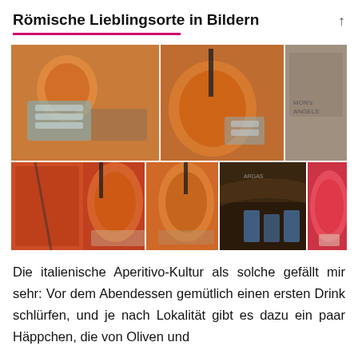Römische Lieblingsorte in Bildern
[Figure (photo): Collage of 7 food and drink photos showing Italian aperitivo culture: cocktails (Aperol Spritz), snacks, bar interior, and street art.]
Die italienische Aperitivo-Kultur als solche gefällt mir sehr: Vor dem Abendessen gemütlich einen ersten Drink schlürfen, und je nach Lokalität gibt es dazu ein paar Häppchen, die von Oliven und